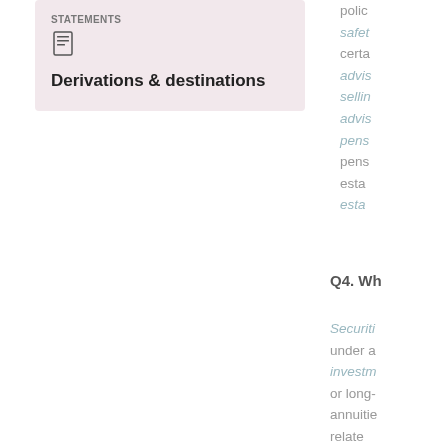[Figure (illustration): Card with document icon and label 'Derivations & destinations' on a light pink background]
policy
safety
certa
advis
selling
advis
pens
pens
esta
esta
Q4. Wh
Securiti
under a
investm
or long-
annuitie
relate